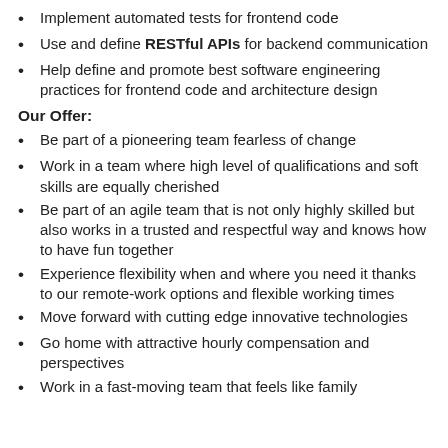Implement automated tests for frontend code
Use and define RESTful APIs for backend communication
Help define and promote best software engineering practices for frontend code and architecture design
Our Offer:
Be part of a pioneering team fearless of change
Work in a team where high level of qualifications and soft skills are equally cherished
Be part of an agile team that is not only highly skilled but also works in a trusted and respectful way and knows how to have fun together
Experience flexibility when and where you need it thanks to our remote-work options and flexible working times
Move forward with cutting edge innovative technologies
Go home with attractive hourly compensation and perspectives
Work in a fast-moving team that feels like family